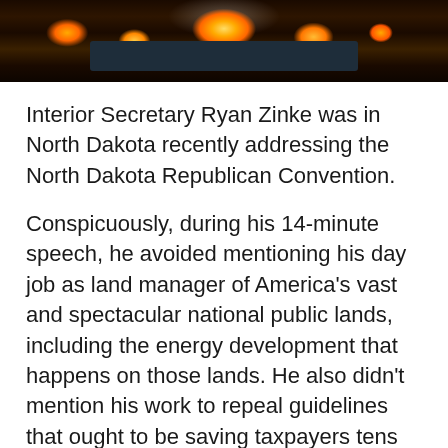[Figure (photo): Aerial night photograph of an industrial facility with orange and yellow lights glowing, likely an oil or gas facility, with steam or smoke visible]
Interior Secretary Ryan Zinke was in North Dakota recently addressing the North Dakota Republican Convention.
Conspicuously, during his 14-minute speech, he avoided mentioning his day job as land manager of America's vast and spectacular national public lands, including the energy development that happens on those lands. He also didn't mention his work to repeal guidelines that ought to be saving taxpayers tens of millions of dollars by preventing the waste of the public's natural gas resources and supporting good-paying jobs in the methane mitigation industry.
The Trump administration's recent decision to roll back the energy development regulations that...